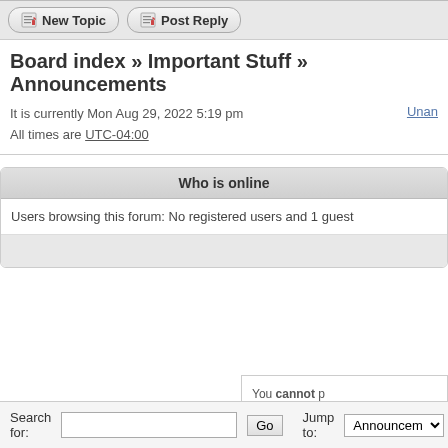New Topic | Post Reply
Board index » Important Stuff » Announcements
It is currently Mon Aug 29, 2022 5:19 pm
All times are UTC-04:00
Who is online
Users browsing this forum: No registered users and 1 guest
You cannot post new topics in this forum
You cannot reply to topics in this forum
You cannot edit your posts in this forum
You cannot delete your posts in this forum
You cannot post attachments in this forum
Search for:
Jump to: Announcements